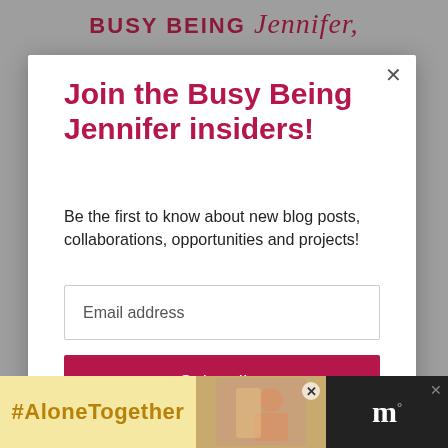[Figure (logo): Busy Being Jennifer blog logo in maroon/dark red script and bold text]
Join the Busy Being Jennifer insiders!
Be the first to know about new blog posts, collaborations, opportunities and projects!
Email address
Subscribe
[Figure (screenshot): Advertisement banner: #AloneTogether with woman photo and logo with X close button]